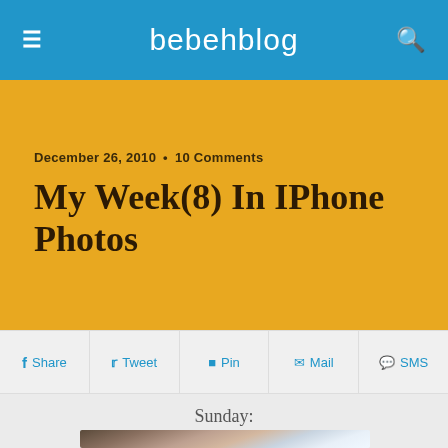bebehblog
December 26, 2010 • 10 Comments
My Week(8) In IPhone Photos
Share  Tweet  Pin  Mail  SMS
Sunday:
[Figure (photo): A sleeping newborn baby wrapped in blue and white striped swaddle blanket, seen from above/side, face partially visible]